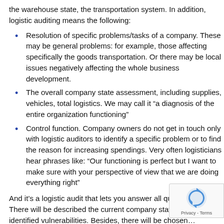the warehouse state, the transportation system. In addition, logistic auditing means the following:
Resolution of specific problems/tasks of a company. These may be general problems: for example, those affecting specifically the goods transportation. Or there may be local issues negatively affecting the whole business development.
The overall company state assessment, including supplies, vehicles, total logistics. We may call it “a diagnosis of the entire organization functioning”
Control function. Company owners do not get in touch only with logistic auditors to identify a specific problem or to find the reason for increasing spendings. Very often logisticians hear phrases like: “Our functioning is perfect but I want to make sure with your perspective of view that we are doing everything right”
And it’s a logistic audit that lets you answer all questio… There will be described the current company status a… identified vulnerabilities. Besides, there will be chosen… measures for eliminating the shortcomings, outlined…